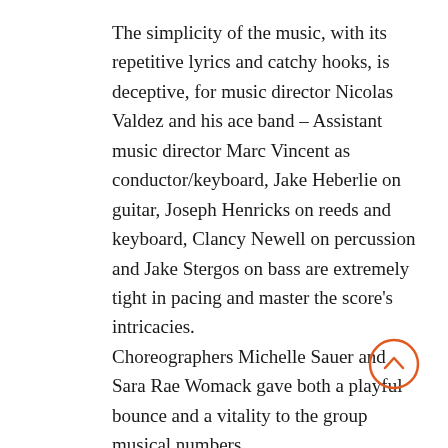The simplicity of the music, with its repetitive lyrics and catchy hooks, is deceptive, for music director Nicolas Valdez and his ace band – Assistant music director Marc Vincent as conductor/keyboard, Jake Heberlie on guitar, Joseph Henricks on reeds and keyboard, Clancy Newell on percussion and Jake Stergos on bass are extremely tight in pacing and master the score's intricacies.
Choreographers Michelle Sauer and Sara Rae Womack gave both a playful bounce and a vitality to the group musical numbers.